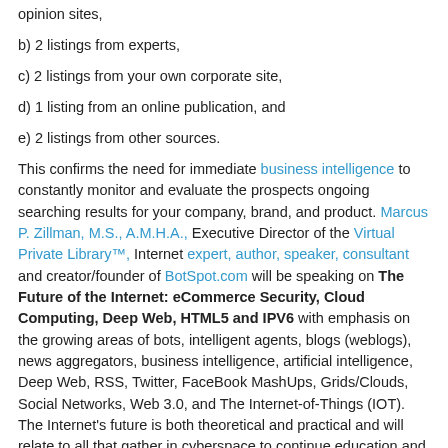opinion sites,
b) 2 listings from experts,
c) 2 listings from your own corporate site,
d) 1 listing from an online publication, and
e) 2 listings from other sources.
This confirms the need for immediate business intelligence to constantly monitor and evaluate the prospects ongoing searching results for your company, brand, and product. Marcus P. Zillman, M.S., A.M.H.A., Executive Director of the Virtual Private Library™, Internet expert, author, speaker, consultant and creator/founder of BotSpot.com will be speaking on The Future of the Internet: eCommerce Security, Cloud Computing, Deep Web, HTML5 and IPV6 with emphasis on the growing areas of bots, intelligent agents, blogs (weblogs), news aggregators, business intelligence, artificial intelligence, Deep Web, RSS, Twitter, FaceBook MashUps, Grids/Clouds, Social Networks, Web 3.0, and The Internet-of-Things (IOT). The Internet's future is both theoretical and practical and will relate to all that gather in cyberspace to continue education and to keep current! We truly live in exciting times ……. Will Mash-Ups and the Web 3.0 replace the current Internet as we know it? These and other questions will be discussed during this presentation by one of